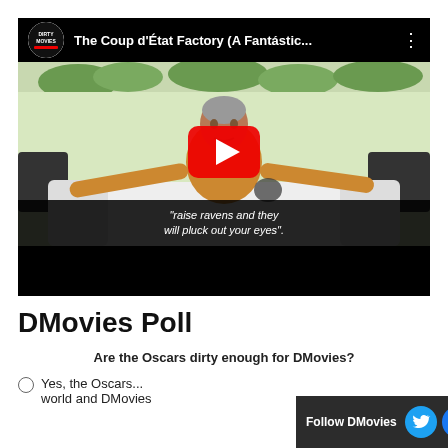[Figure (screenshot): YouTube video player showing 'The Coup d'État Factory (A Fantástic...' with a man in yellow/orange sweater gesturing with arms spread, sitting on a white couch. Subtitle reads 'raise ravens and they will pluck out your eyes'. DMovies logo in top-left corner.]
DMovies Poll
Are the Oscars dirty enough for DMovies?
Yes, the Oscars... world and DMovies
Follow DMovies